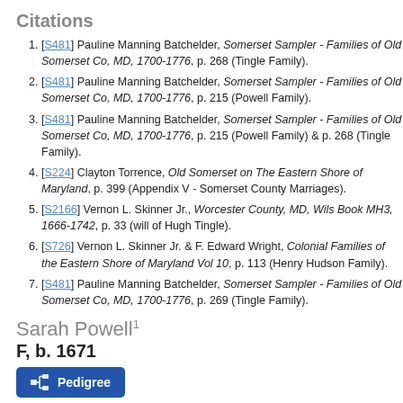Citations
[S481] Pauline Manning Batchelder, Somerset Sampler - Families of Old Somerset Co, MD, 1700-1776, p. 268 (Tingle Family).
[S481] Pauline Manning Batchelder, Somerset Sampler - Families of Old Somerset Co, MD, 1700-1776, p. 215 (Powell Family).
[S481] Pauline Manning Batchelder, Somerset Sampler - Families of Old Somerset Co, MD, 1700-1776, p. 215 (Powell Family) & p. 268 (Tingle Family).
[S224] Clayton Torrence, Old Somerset on The Eastern Shore of Maryland, p. 399 (Appendix V - Somerset County Marriages).
[S2166] Vernon L. Skinner Jr., Worcester County, MD, Wils Book MH3, 1666-1742, p. 33 (will of Hugh Tingle).
[S726] Vernon L. Skinner Jr. & F. Edward Wright, Colonial Families of the Eastern Shore of Maryland Vol 10, p. 113 (Henry Hudson Family).
[S481] Pauline Manning Batchelder, Somerset Sampler - Families of Old Somerset Co, MD, 1700-1776, p. 269 (Tingle Family).
Sarah Powell
F, b. 1671
Pedigree
Father
Walter Powell (Quaker)1 b. c 1626, d.